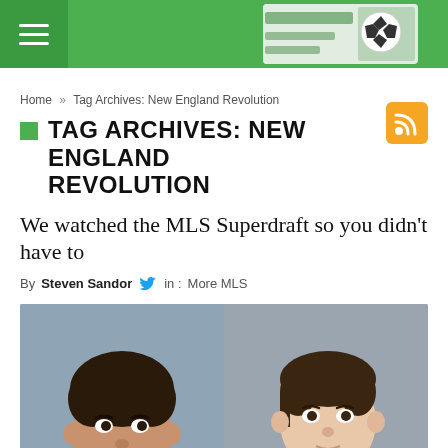Navigation header with hamburger menu and advertisement banner
Home » Tag Archives: New England Revolution
TAG ARCHIVES: NEW ENGLAND REVOLUTION
We watched the MLS Superdraft so you didn't have to
By Steven Sandor   in : More MLS
[Figure (photo): Two soccer players headshots side by side — left: young Black male with curly hair against gray background; right: young white male in green and white striped jersey against gray-blue background]